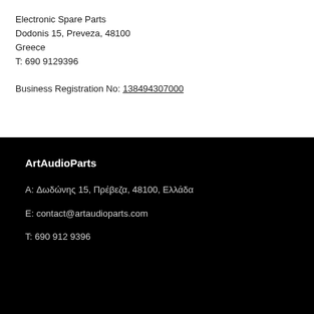Electronic Spare Parts
Dodonis 15, Preveza, 48100
Greece
T: 690 9129396
Business Registration No: 138494307000
ArtAudioParts
A: Δωδώνης 15, Πρέβεζα, 48100, Ελλάδα
E: contact@artaudioparts.com
T: 690 912 9396